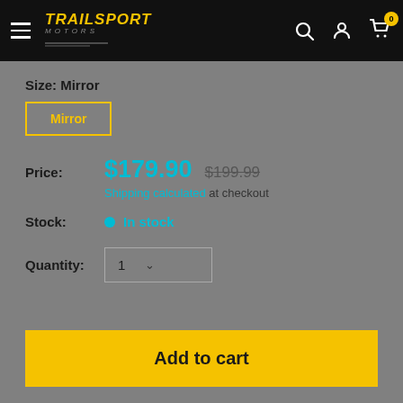TrailSport Motors
Size: Mirror
Mirror
Price: $179.90  $199.99
Shipping calculated at checkout
Stock: In stock
Quantity: 1
Add to cart